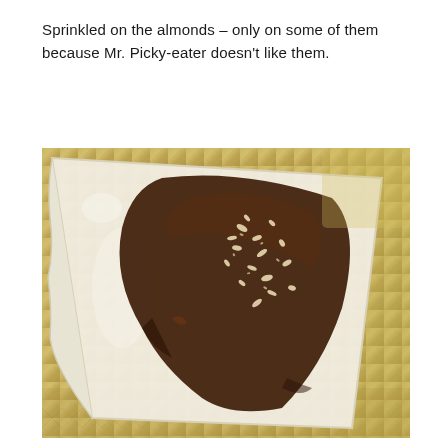Sprinkled on the almonds – only on some of them because Mr. Picky-eater doesn't like them.
[Figure (photo): A close-up photo of a triangular slice of flatbread or crepe on a gold/silver foil surface, topped with a generous spread of dark chocolate and sprinkled with chopped almonds.]